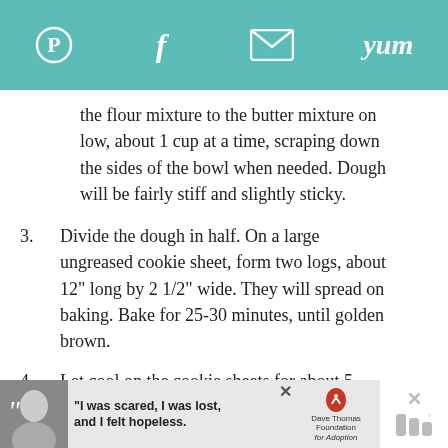Pinterest | Facebook | Email | Yum
the flour mixture to the butter mixture on low, about 1 cup at a time, scraping down the sides of the bowl when needed. Dough will be fairly stiff and slightly sticky.
3. Divide the dough in half. On a large ungreased cookie sheet, form two logs, about 12" long by 2 1/2" wide. They will spread on baking. Bake for 25-30 minutes, until golden brown.
4. Let cool on the cookie sheets for about 5 minutes, then slide a very large spatula under them to loosen them from the sheet. Carefully move
[Figure (screenshot): Advertisement banner: photo of a young woman, quote text 'I was scared, I was lost, and I felt hopeless.' with Dave Thomas Foundation for Adoption logo]